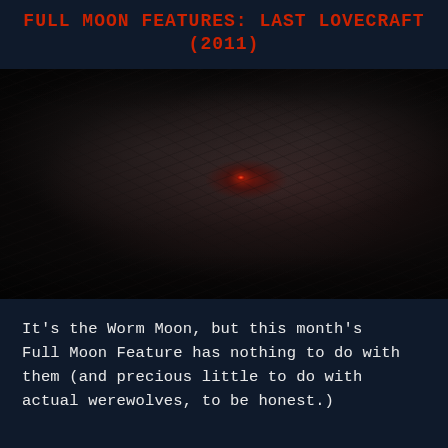FULL MOON FEATURES: LAST LOVECRAFT (2011)
[Figure (photo): Close-up dark image of a werewolf or monster face in shadow, with a glowing red eye visible in the center]
It's the Worm Moon, but this month's Full Moon Feature has nothing to do with them (and precious little to do with actual werewolves, to be honest.)